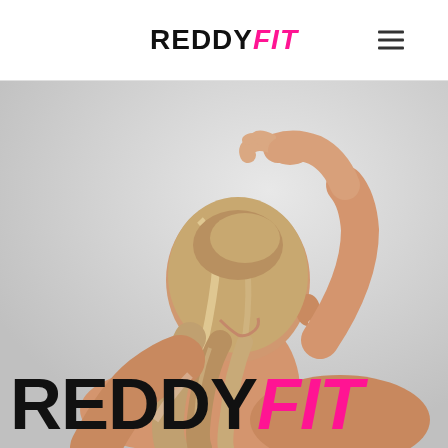REDDY FIT
[Figure (photo): Blonde woman from behind pulling her hair up into a ponytail, wearing minimal clothing, shot against a light grey background]
REDDYFIT